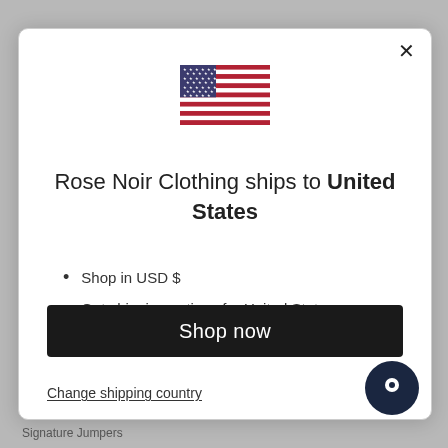[Figure (illustration): US flag SVG inside modal dialog]
Rose Noir Clothing ships to United States
Shop in USD $
Get shipping options for United States
Shop now
Change shipping country
Signature Jumpers